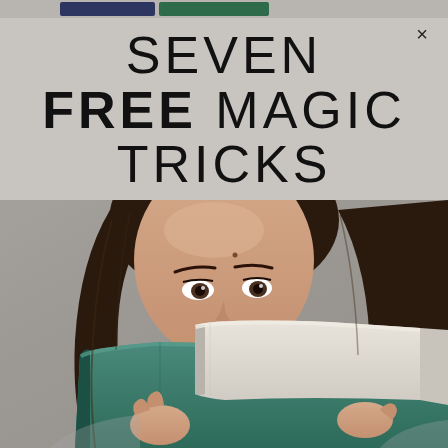SEVEN FREE MAGIC TRICKS
[Figure (photo): Young woman with dark hair peering over stacked books (one teal, one white/light), photographed against a grey background, visible from forehead to hands holding books at chin level]
×